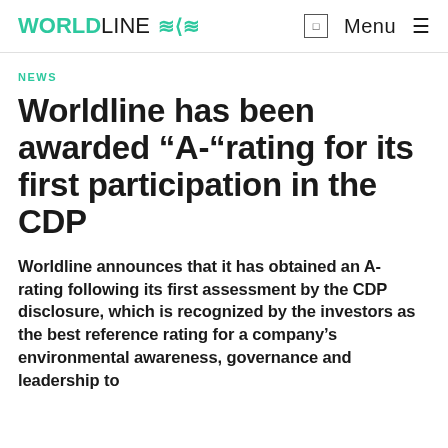WORLDLINE  Menu
NEWS
Worldline has been awarded “A-“rating for its first participation in the CDP
Worldline announces that it has obtained an A- rating following its first assessment by the CDP disclosure, which is recognized by the investors as the best reference rating for a company’s environmental awareness, governance and leadership to